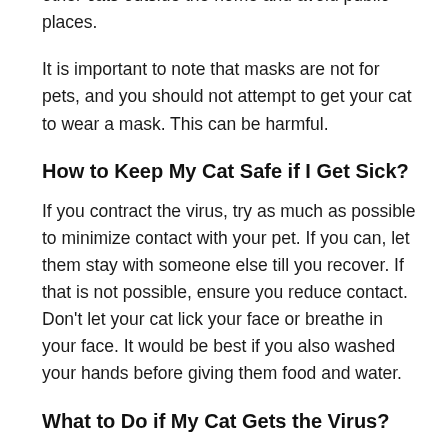other cats outside the home and avoid public places.
It is important to note that masks are not for pets, and you should not attempt to get your cat to wear a mask. This can be harmful.
How to Keep My Cat Safe if I Get Sick?
If you contract the virus, try as much as possible to minimize contact with your pet. If you can, let them stay with someone else till you recover. If that is not possible, ensure you reduce contact. Don't let your cat lick your face or breathe in your face. It would be best if you also washed your hands before giving them food and water.
What to Do if My Cat Gets the Virus?
Cats rarely show symptoms of the virus, and they can heal safely at home. However, if you suspect your cat has